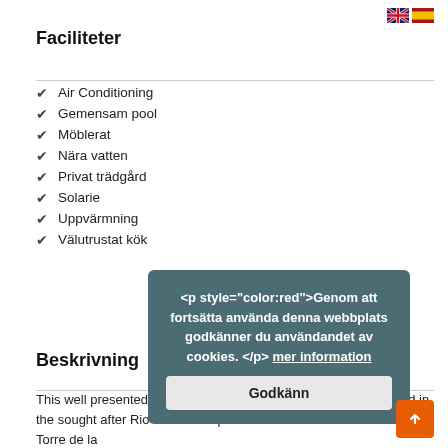[Figure (other): UK and Spanish flag icons in the top-right corner]
Faciliteter
Air Conditioning
Gemensam pool
Möblerat
Nära vatten
Privat trädgård
Solarie
Uppvärmning
Välutrustat kök
Beskrivning
<p style="color:red">Genom att fortsätta använda denna webbplats godkänner du användandet av cookies. </p> mer information
Godkänn
This well presented 2 bedroom, 2 bathroom townhouse is situated in the sought after Rio Mar development between Mil Palmeras and Torre de la